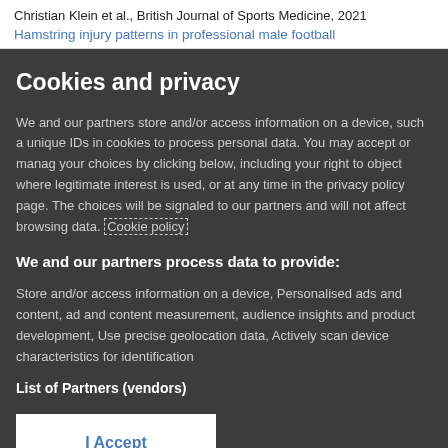Christian Klein et al., British Journal of Sports Medicine, 2021
Hamstring injury patterns in professional male football
Cookies and privacy
We and our partners store and/or access information on a device, such as unique IDs in cookies to process personal data. You may accept or manage your choices by clicking below, including your right to object where legitimate interest is used, or at any time in the privacy policy page. These choices will be signaled to our partners and will not affect browsing data. Cookie policy
We and our partners process data to provide:
Store and/or access information on a device, Personalised ads and content, ad and content measurement, audience insights and product development, Use precise geolocation data, Actively scan device characteristics for identification
List of Partners (vendors)
I Accept